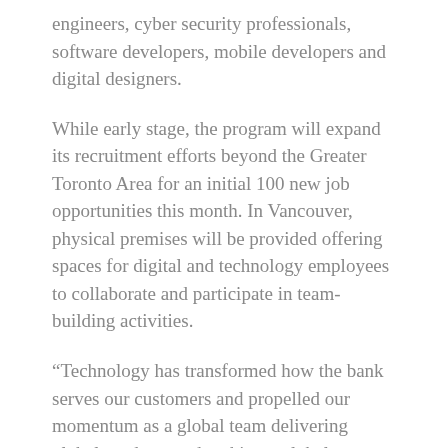engineers, cyber security professionals, software developers, mobile developers and digital designers.
While early stage, the program will expand its recruitment efforts beyond the Greater Toronto Area for an initial 100 new job opportunities this month. In Vancouver, physical premises will be provided offering spaces for digital and technology employees to collaborate and participate in team-building activities.
“Technology has transformed how the bank serves our customers and propelled our momentum as a global team delivering global products and making a global impact,” said Michael Zerbs, Group Head Technology & Operations.